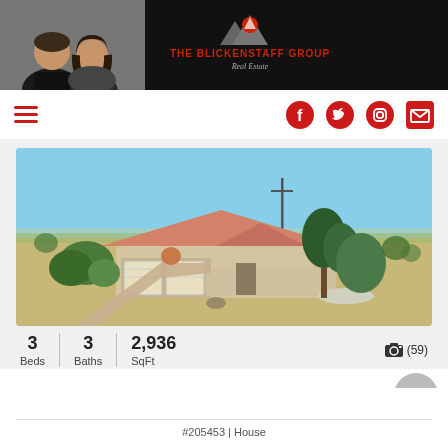[Figure (logo): The Blickenstaff Group Real Estate logo with mountain/sun icon and two agent photo silhouettes on dark header background]
[Figure (illustration): Navigation bar with hamburger menu on left and social media icons (Facebook, Twitter, Instagram, Email) in red on right]
[Figure (photo): Aerial photo of a single-story ranch house with red/orange roof, two-car garage, gravel driveway, surrounded by desert scrubland under blue sky]
3 Beds   3 Baths   2,936 SqFt     (59)
#205453 | House